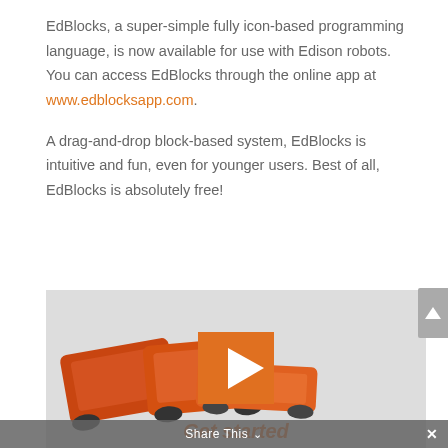EdBlocks, a super-simple fully icon-based programming language, is now available for use with Edison robots. You can access EdBlocks through the online app at www.edblocksapp.com.
A drag-and-drop block-based system, EdBlocks is intuitive and fun, even for younger users. Best of all, EdBlocks is absolutely free!
[Figure (photo): Three orange Edison robots arranged on a light grey surface, with a large orange play button overlay in the center and 'Get started with EdBlocks' text in orange italic at the bottom.]
Share This